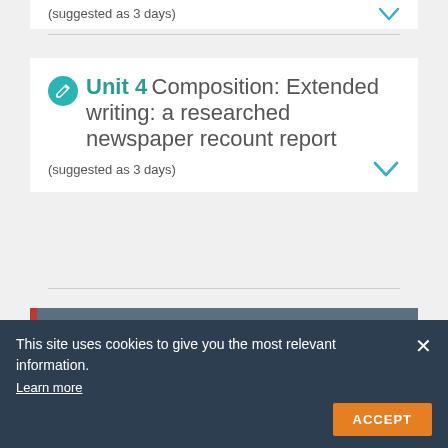(suggested as 3 days)
Unit 4  Composition: Extended writing: a researched newspaper recount report
(suggested as 3 days)
Phonics: Code-Breakers
This site uses cookies to give you the most relevant information. Learn more